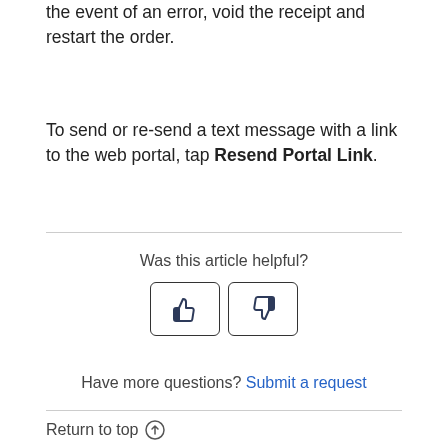the event of an error, void the receipt and restart the order.
To send or re-send a text message with a link to the web portal, tap Resend Portal Link.
Was this article helpful?
Have more questions? Submit a request
Return to top ↑